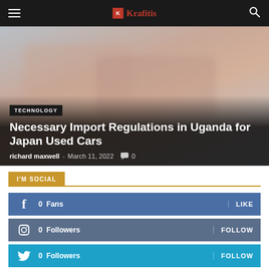Krafitis
[Figure (photo): Blurred image of cars, reddish-orange hue]
TECHNOLOGY
Necessary Import Regulations in Uganda for Japan Used Cars
richard maxwell - March 11, 2022  0
I'M SOCIAL
0  Fans  LIKE
0  Followers  FOLLOW
0  Followers  FOLLOW